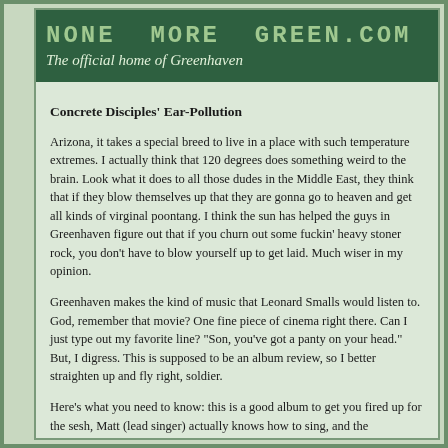NONE MORE GREEN.COM - The official home of Greenhaven
Concrete Disciples' Ear-Pollution
Arizona, it takes a special breed to live in a place with such temperature extremes. I actually think that 120 degrees does something weird to the brain. Look what it does to all those dudes in the Middle East, they think that if they blow themselves up that they are gonna go to heaven and get all kinds of virginal poontang. I think the sun has helped the guys in Greenhaven figure out that if you churn out some fuckin' heavy stoner rock, you don't have to blow yourself up to get laid. Much wiser in my opinion.
Greenhaven makes the kind of music that Leonard Smalls would listen to. God, remember that movie? One fine piece of cinema right there. Can I just type out my favorite line? "Son, you've got a panty on your head." But, I digress. This is supposed to be an album review, so I better straighten up and fly right, soldier.
Here's what you need to know: this is a good album to get you fired up for the sesh, Matt (lead singer) actually knows how to sing, and the production quality is nice and clean. Fans of bands like Clutch, Queens of the Stone Age, and anything on stonerrock.com should really enjoy this album.